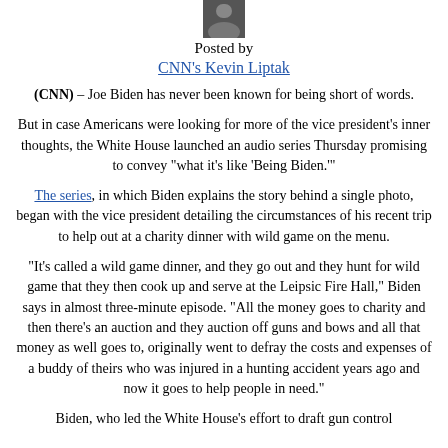[Figure (photo): Small portrait photo of CNN's Kevin Liptak]
Posted by
CNN's Kevin Liptak
(CNN) – Joe Biden has never been known for being short of words.
But in case Americans were looking for more of the vice president's inner thoughts, the White House launched an audio series Thursday promising to convey "what it's like 'Being Biden.'"
The series, in which Biden explains the story behind a single photo, began with the vice president detailing the circumstances of his recent trip to help out at a charity dinner with wild game on the menu.
"It's called a wild game dinner, and they go out and they hunt for wild game that they then cook up and serve at the Leipsic Fire Hall," Biden says in almost three-minute episode. "All the money goes to charity and then there's an auction and they auction off guns and bows and all that money as well goes to, originally went to defray the costs and expenses of a buddy of theirs who was injured in a hunting accident years ago and now it goes to help people in need."
Biden, who led the White House's effort to draft gun control